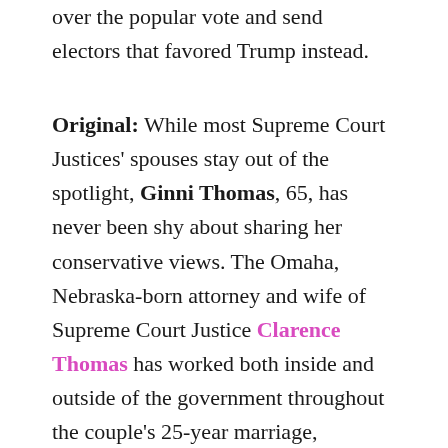over the popular vote and send electors that favored Trump instead.
Original: While most Supreme Court Justices' spouses stay out of the spotlight, Ginni Thomas, 65, has never been shy about sharing her conservative views. The Omaha, Nebraska-born attorney and wife of Supreme Court Justice Clarence Thomas has worked both inside and outside of the government throughout the couple's 25-year marriage, wielding her influence in Washington D.C. and beyond.
Recently, however, her connections to the political world have begun to face scrutiny amid revelations she